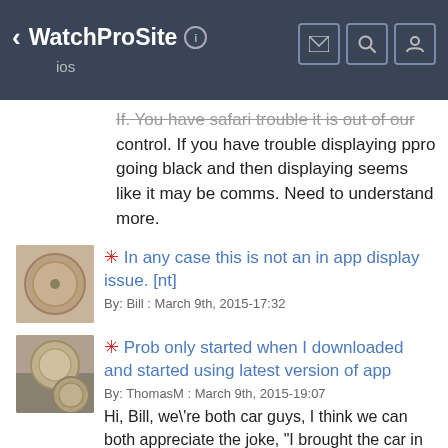WatchProSite
ios
If. You have safari trouble it is out of our control. If you have trouble displaying ppro going black and then displaying seems like it may be comms. Need to understand more.
* In any case this is not an in app display issue. [nt]
By: Bill : March 9th, 2015-17:32
* Prob only started when I downloaded and started using latest version of app
By: ThomasM : March 9th, 2015-19:07
Hi, Bill, we're both car guys, I think we can both appreciate the joke, "I brought the car in for a brake job, and now the air conditioning doesn't work. What did you do?" All I know is that before the latest version of the app, I never experienced this...